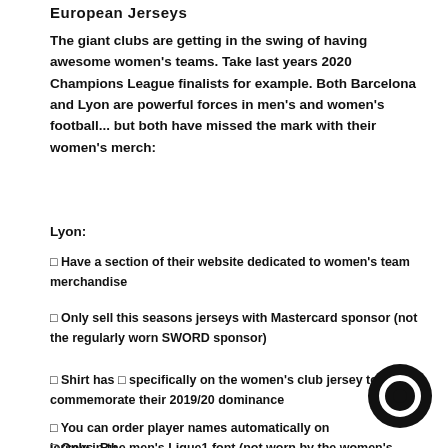European Jerseys
The giant clubs are getting in the swing of having awesome women's teams. Take last years 2020 Champions League finalists for example. Both Barcelona and Lyon are powerful forces in men's and women's football... but both have missed the mark with their women's merch:
Lyon:
☐ Have a section of their website dedicated to women's team merchandise
☐ Only sell this seasons jerseys with Mastercard sponsor (not the regularly worn SWORD sponsor)
☐ Shirt has ☐ specifically on the women's club jersey to commemorate their 2019/20 dominance
☐ You can order player names automatically on jerseys. Bu
☐ Only in the men's Ligue1 font (not worn by the women's team) ☒☒
☐ The... (text continues)